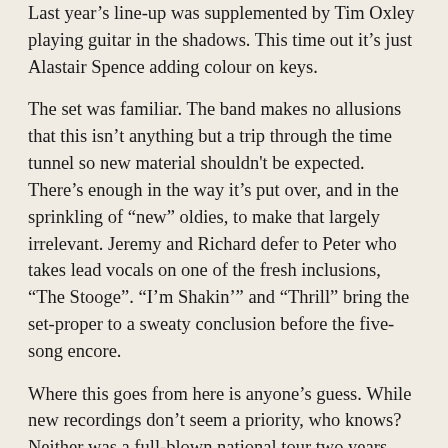Last year's line-up was supplemented by Tim Oxley playing guitar in the shadows. This time out it's just Alastair Spence adding colour on keys.
The set was familiar. The band makes no allusions that this isn't anything but a trip through the time tunnel so new material shouldn't be expected. There's enough in the way it's put over, and in the sprinkling of "new" oldies, to make that largely irrelevant. Jeremy and Richard defer to Peter who takes lead vocals on one of the fresh inclusions, "The Stooge". "I'm Shakin'" and "Thrill" bring the set-proper to a sweaty conclusion before the five-song encore.
Where this goes from here is anyone's guess. While new recordings don't seem a priority, who knows? Neither was a full-blown national tour two years ago.
Opening band the New Christs fired (as the New Christs usually do) in a brutal 30-minute set. Their bracket, not unexpectedly, leant towards "Incarnations", with notable oldies, "I Swear" and "Coming Apart", appended. While the band originally throught they were going on a little later, they had about a thousand people watching after hitting the stage at 7.30.